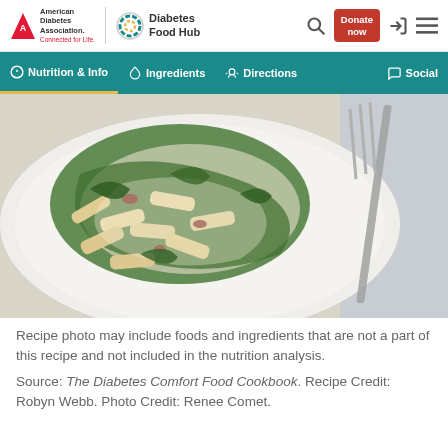American Diabetes Association. Connected for Life. | Diabetes Food Hub
[Figure (screenshot): Website navigation bar with tabs: Nutrition & Info, Ingredients, Directions, Social]
[Figure (photo): A white plate with penne pasta, spinach, sun-dried tomatoes in a cream sauce, with a fork]
Recipe photo may include foods and ingredients that are not a part of this recipe and not included in the nutrition analysis.
Source: The Diabetes Comfort Food Cookbook. Recipe Credit: Robyn Webb. Photo Credit: Renee Comet.